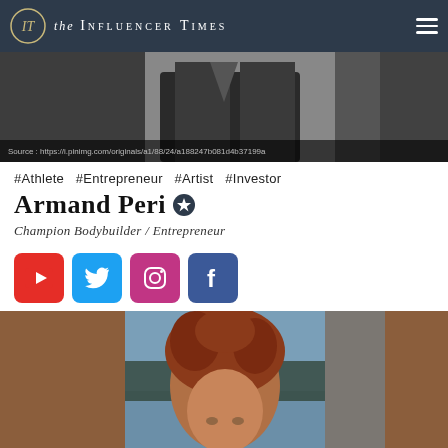the INFLUENCER TIMES
[Figure (photo): Black and white hero banner photo of a person in leather jacket. Source caption: Source : https://i.pinimg.com/originals/a1/88/24/a188247b081d4b37199a]
#Athlete  #Entrepreneur  #Artist  #Investor
Armand Peri ✪
Champion Bodybuilder / Entrepreneur
[Figure (infographic): Social media icons: YouTube (red), Twitter (blue), Instagram (pink/magenta), Facebook (dark blue)]
[Figure (photo): Photo of a person with curly red/auburn hair against a blue outdoor background]